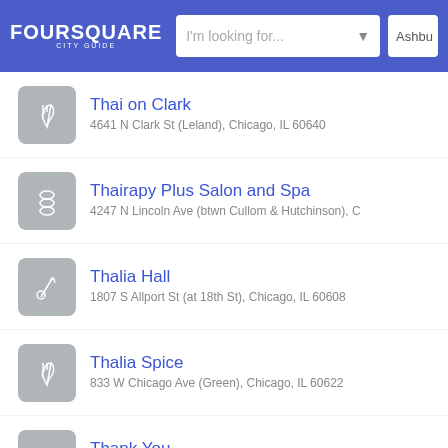FOURSQUARE CITY GUIDE | I'm looking for... | Ashbu
Thai on Clark
4641 N Clark St (Leland), Chicago, IL 60640
Thairapy Plus Salon and Spa
4247 N Lincoln Ave (btwn Cullom & Hutchinson), C
Thalia Hall
1807 S Allport St (at 18th St), Chicago, IL 60608
Thalia Spice
833 W Chicago Ave (Green), Chicago, IL 60622
Thank You
3152 W Diversey Ave (Kenzie Boulevard), Chicago
Thanksgiving 2012
Chicago, IL 60618